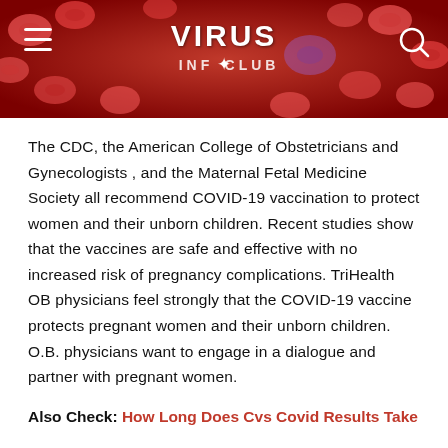[Figure (photo): Website header banner with red/blood cell background for 'VIRUS INFO CLUB' website, showing hamburger menu icon on left, logo in center, and search icon on right]
The CDC, the American College of Obstetricians and Gynecologists , and the Maternal Fetal Medicine Society all recommend COVID-19 vaccination to protect women and their unborn children. Recent studies show that the vaccines are safe and effective with no increased risk of pregnancy complications. TriHealth OB physicians feel strongly that the COVID-19 vaccine protects pregnant women and their unborn children. O.B. physicians want to engage in a dialogue and partner with pregnant women.
Also Check: How Long Does Cvs Covid Results Take
Is It Safe To Take Otc Pain Relievers And Fever Reducers Like Tylenol Or Advil Before